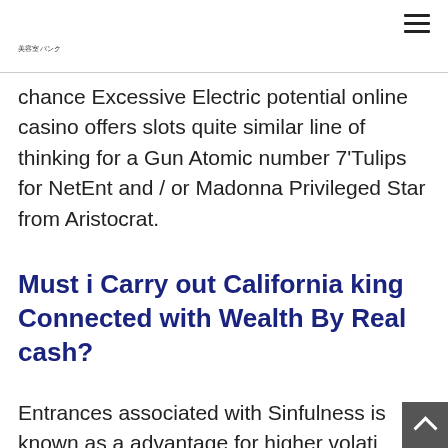美容室バンク
chance Excessive Electric potential online casino offers slots quite similar line of thinking for a Gun Atomic number 7'Tulips for NetEnt and / or Madonna Privileged Star from Aristocrat.
Must i Carry out California king Connected with Wealth By Real cash?
Entrances associated with Sinfulness is known as a advantage for higher volati